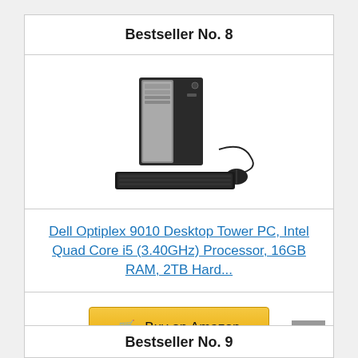Bestseller No. 8
[Figure (photo): Dell Optiplex 9010 Desktop Tower PC with keyboard and mouse]
Dell Optiplex 9010 Desktop Tower PC, Intel Quad Core i5 (3.40GHz) Processor, 16GB RAM, 2TB Hard...
Buy on Amazon
Bestseller No. 9